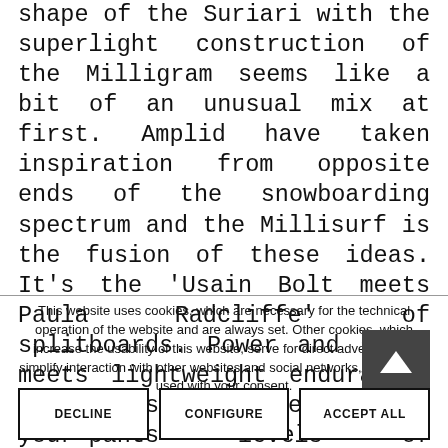shape of the Suriari with the superlight construction of the Milligram seems like a bit of an unusual mix at first. Amplid have taken inspiration from opposite ends of the snowboarding spectrum and the Millisurf is the fusion of these ideas. It's the 'Usain Bolt meets Paula Radcliffe' of splitboards. Power and style meets lightweight endurance. Effortless steeze meets shit-your-pants levels of adrenaline.
This website uses cookies, which are necessary for the technical operation of the website and are always set. Other cookies, which increase the usability of this website, serve for direct advertising or simplify interaction with other websites and social networks, will only be used with your consent.
TO TOP
DECLINE
CONFIGURE
ACCEPT ALL